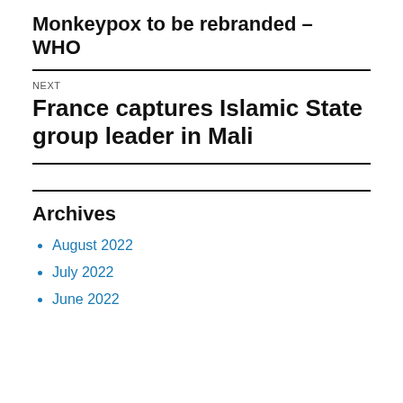Monkeypox to be rebranded – WHO
NEXT
France captures Islamic State group leader in Mali
Archives
August 2022
July 2022
June 2022